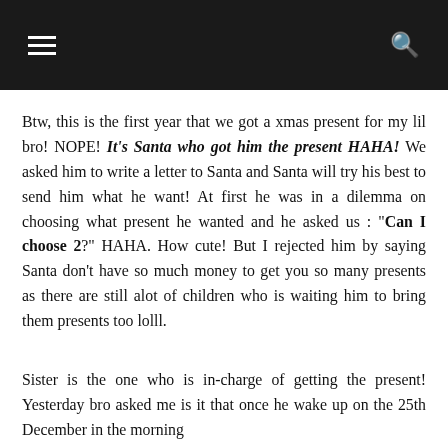[hamburger menu] [search icon]
Btw, this is the first year that we got a xmas present for my lil bro! NOPE! It's Santa who got him the present HAHA! We asked him to write a letter to Santa and Santa will try his best to send him what he want! At first he was in a dilemma on choosing what present he wanted and he asked us : "Can I choose 2?" HAHA. How cute! But I rejected him by saying Santa don't have so much money to get you so many presents as there are still alot of children who is waiting him to bring them presents too lolll.
Sister is the one who is in-charge of getting the present! Yesterday bro asked me is it that once he wake up on the 25th December in the morning